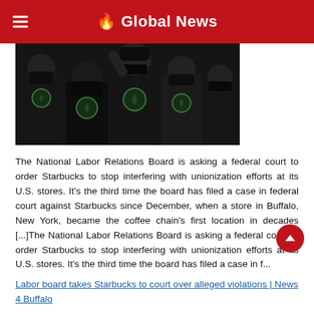Global News
[Figure (photo): Group of people wearing black Starbucks Workers Union t-shirts and black face masks, gathered together, some with raised arms.]
The National Labor Relations Board is asking a federal court to order Starbucks to stop interfering with unionization efforts at its U.S. stores. It's the third time the board has filed a case in federal court against Starbucks since December, when a store in Buffalo, New York, became the coffee chain's first location in decades [...]The National Labor Relations Board is asking a federal court to order Starbucks to stop interfering with unionization efforts at its U.S. stores. It's the third time the board has filed a case in f...
Labor board takes Starbucks to court over alleged violations | News 4 Buffalo